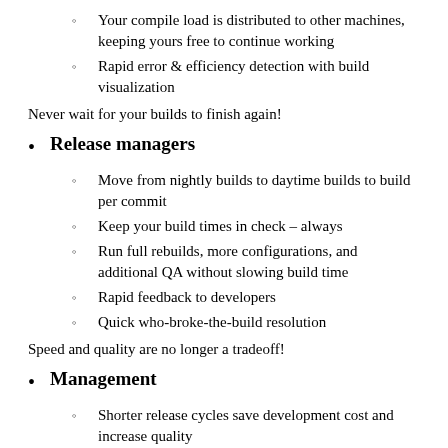Your compile load is distributed to other machines, keeping yours free to continue working
Rapid error & efficiency detection with build visualization
Never wait for your builds to finish again!
Release managers
Move from nightly builds to daytime builds to build per commit
Keep your build times in check – always
Run full rebuilds, more configurations, and additional QA without slowing build time
Rapid feedback to developers
Quick who-broke-the-build resolution
Speed and quality are no longer a tradeoff!
Management
Shorter release cycles save development cost and increase quality
Real-time critical bug fixes release better products to